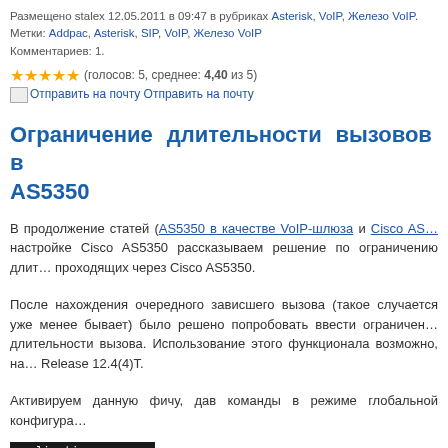Размещено stalex 12.05.2011 в 09:47 в рубриках Asterisk, VoIP, Железо VoIP. Метки: Addpac, Asterisk, SIP, VoIP, Железо VoIP
Комментариев: 1.
(голосов: 5, среднее: 4,40 из 5)
Отправить на почту Отправить на почту
Ограничение длительности вызовов в AS5350
В продолжение статей (AS5350 в качестве VoIP-шлюза и Cisco AS... настройке Cisco AS5350 рассказываем решение по ограничению длит... проходящих через Cisco AS5350.
После нахождения очередного зависшего вызова (такое случается уже менее бывает) было решено попробовать ввести ограничен... длительности вызова. Использование этого функционала возможно, на... Release 12.4(4)T.
Активируем данную фичу, дав команды в режиме глобальной конфигура...
application
package callfeature
Ограничиваем макисмальную длительность вызова 60 минутами:
param long-dur-duration 60